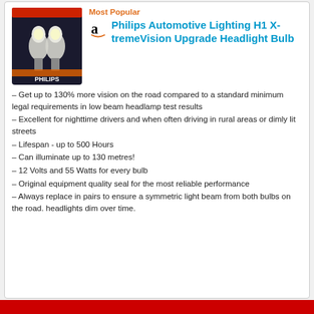Most Popular
[Figure (photo): Philips H1 X-tremeVision headlight bulb product package photo]
Philips Automotive Lighting H1 X-tremeVision Upgrade Headlight Bulb
– Get up to 130% more vision on the road compared to a standard minimum legal requirements in low beam headlamp test results
– Excellent for nighttime drivers and when often driving in rural areas or dimly lit streets
– Lifespan - up to 500 Hours
– Can illuminate up to 130 metres!
– 12 Volts and 55 Watts for every bulb
– Original equipment quality seal for the most reliable performance
– Always replace in pairs to ensure a symmetric light beam from both bulbs on the road. headlights dim over time.